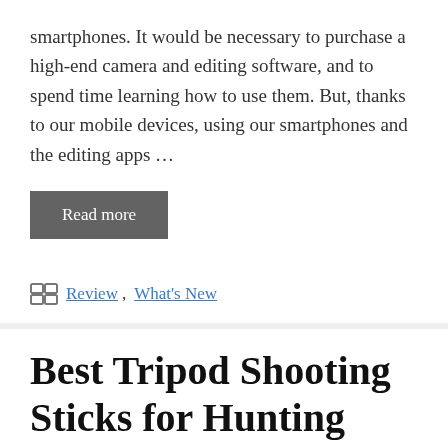smartphones. It would be necessary to purchase a high-end camera and editing software, and to spend time learning how to use them. But, thanks to our mobile devices, using our smartphones and the editing apps …
Read more
Review, What's New
Best Tripod Shooting Sticks for Hunting 2021 – Buyer's Guide & Top Picks